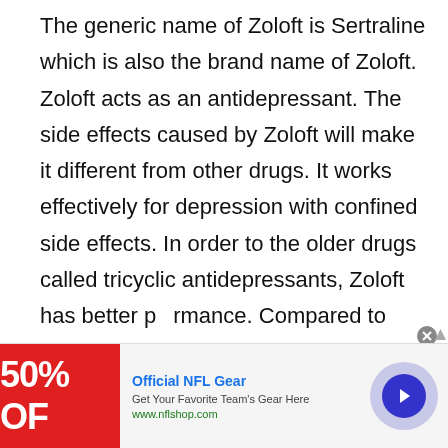The generic name of Zoloft is Sertraline which is also the brand name of Zoloft. Zoloft acts as an antidepressant. The side effects caused by Zoloft will make it different from other drugs. It works effectively for depression with confined side effects. In order to the older drugs called tricyclic antidepressants, Zoloft has better performance. Compared to fluoxetine, Zoloft works with subtypes of depressions.
[Figure (other): A circular play button with pink/magenta border and a filled triangular play icon, overlapping the main text area near the word 'performance'.]
[Figure (other): Advertisement banner at the bottom: Official NFL Gear - Get Your Favorite Team's Gear Here - www.nflshop.com, with a red image showing '50% OFF' and a navigation arrow button on the right. Has a close (x) button.]